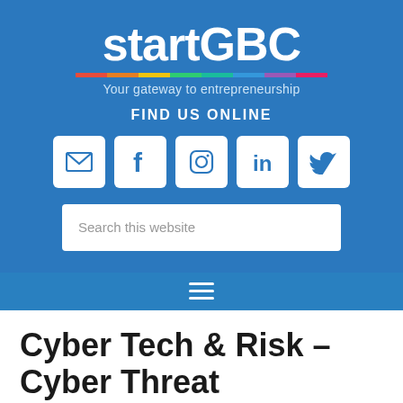[Figure (logo): startGBC logo with tagline 'Your gateway to entrepreneurship', rainbow color bar, social media icons (email, facebook, instagram, linkedin, twitter), search bar, and navigation hamburger menu on blue background]
Cyber Tech & Risk – Cyber Threat Intelligence
MARCH 21, 2019 BY STARTGBC